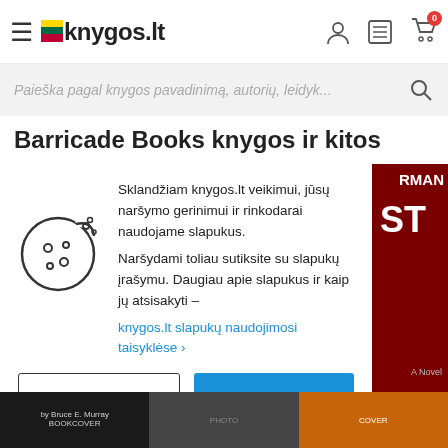knygos.lt
Paieška pagal knygos pavadinimą, autorių, leidyk...
Barricade Books knygos ir kitos
Sklandžiam knygos.lt veikimui, jūsų naršymo gerinimui ir rinkodarai naudojame slapukus.
Naršydami toliau sutiksite su slapukų įrašymu. Daugiau apie slapukus ir kaip jų atsisakyti –
knygos.lt slapukų naudojimosi taisyklėse >
Nesutinku
Supratau